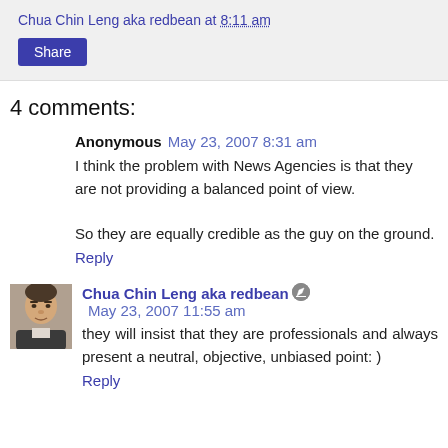Chua Chin Leng aka redbean at 8:11 am
Share
4 comments:
Anonymous  May 23, 2007 8:31 am
I think the problem with News Agencies is that they are not providing a balanced point of view.

So they are equally credible as the guy on the ground.
Reply
[Figure (photo): Small avatar photo of Chua Chin Leng aka redbean, showing an older man in a jacket]
Chua Chin Leng aka redbean [edit icon] May 23, 2007 11:55 am
they will insist that they are professionals and always present a neutral, objective, unbiased point: )
Reply